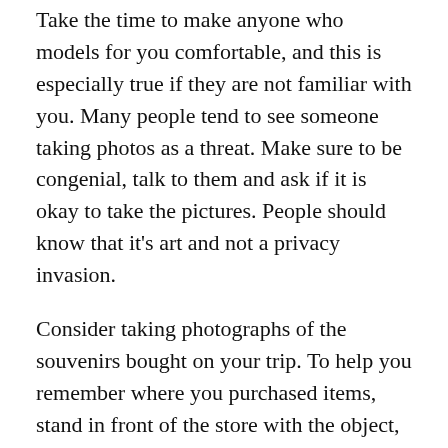Take the time to make anyone who models for you comfortable, and this is especially true if they are not familiar with you. Many people tend to see someone taking photos as a threat. Make sure to be congenial, talk to them and ask if it is okay to take the pictures. People should know that it's art and not a privacy invasion.
Consider taking photographs of the souvenirs bought on your trip. To help you remember where you purchased items, stand in front of the store with the object, and take a picture. You'll be able to craft a story with your photograph to share when you show friends and family your album.
There is no special formula that automatically produces a skilled photographer. Practice and learn from your mistakes. It is not necessary to get all your pictures developed, or even keep them, which is especially true and convenient of digital cameras. Your eye for what